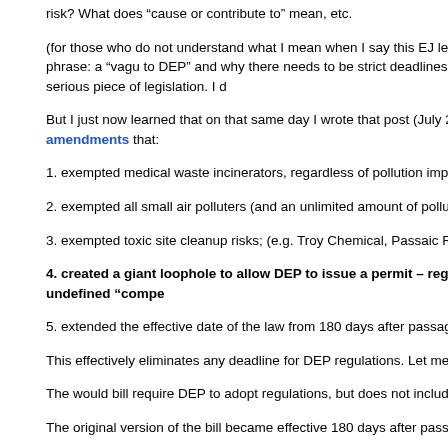risk? What does “cause or contribute to” mean, etc.
(for those who do not understand what I mean when I say this EJ legislation is no criticism of a “lack of legislative standards” and use of the wonky phrase: a “vagu to DEP” and why there needs to be strict deadlines for DEP regulations, please r Highlands Act. That law is a well thought out and serious piece of legislation. I d
But I just now learned that on that same day I wrote that post (July 20), the alrea was further gutted by several terrible Assembly Committee amendments that:
1. exempted medical waste incinerators, regardless of pollution impacts;
2. exempted all small air polluters (and an unlimited amount of pollution) by inclu emission threshold;
3. exempted toxic site cleanup risks; (e.g. Troy Chemical, Passaic River cleanup)
4. created a giant loophole to allow DEP to issue a permit – regardless of u impacts, and/or unacceptable public health risks – for an undefined “compe
5. extended the effective date of the law from 180 days after passage until after D
This effectively eliminates any deadline for DEP regulations. Let me explain this v
The would bill require DEP to adopt regulations, but does not include a deadline. regulations in place before they can make binding permit decisions.
The original version of the bill became effective 180 days after passage and was permit processes.
Because DEP legally must have regulations in place before making EJ permit d